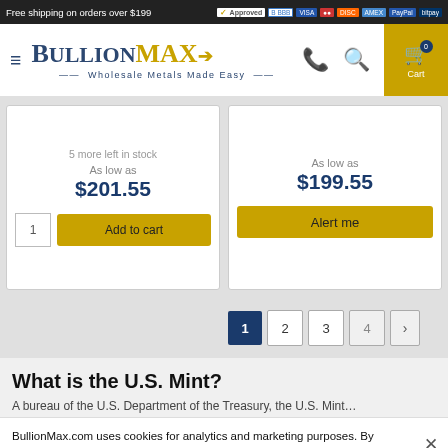Free shipping on orders over $199 | BullionMAX logo — Wholesale Metals Made Easy
5 more left in stock
As low as $201.55
As low as $199.55
1  2  3  4  >
What is the U.S. Mint?
A bureau of the U.S. Department of the Treasury, the U.S. Mint...
BullionMax.com uses cookies for analytics and marketing purposes. By continuing to use this site, you agree to our privacy policy.